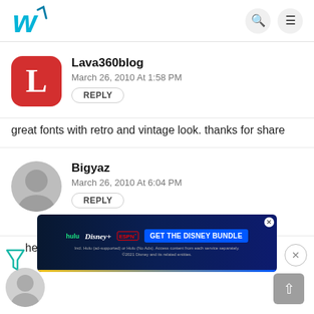W [logo] | search icon | menu icon
Lava360blog
March 26, 2010 At 1:58 PM
REPLY
great fonts with retro and vintage look. thanks for share
Bigyaz
March 26, 2010 At 6:04 PM
REPLY
head says Caslon, but that's really Caslon Antique.
[Figure (screenshot): Disney Bundle advertisement banner with Hulu, Disney+, ESPN+ logos and GET THE DISNEY BUNDLE CTA button]